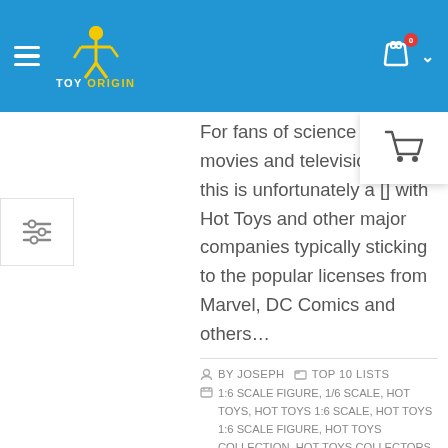[Figure (screenshot): Toy Origin website navigation bar with logo, hamburger menu, shopping cart with badge showing 0, and dropdown arrow on blue background]
For fans of science fiction movies and television shows this is unfortunately a [issue] with Hot Toys and other major companies typically sticking to the popular licenses from Marvel, DC Comics and others...
BY JOSEPH  TOP 10 LISTS
✉ 1:6 SCALE FIGURE, 1/6 SCALE, HOT TOYS, HOT TOYS 1:6 SCALE, HOT TOYS 1:6 SCALE FIGURE, HOT TOYS COLLECTION, HOT TOYS COLLECTORS, HOT TOYS FIGURE, HOT TOYS FIGURES, HOT TOYS MOVIE MASTERPIECE SERIES, HOT TOYS SIXTH SCALE FIGURE, IRON MAN HOT TOYS, MARVEL COLLECTIBLES, MARVEL HOT TOYS, ONE SIXTH SCALE FIGURE, POP CULTURE COLLECTIBLES, SIXTH SCALE FIGURE, SIXTH SCALE FIGURES